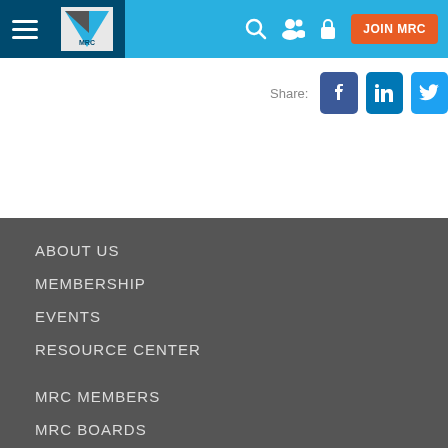MRC navigation header with hamburger menu, logo, search, members, login icons and JOIN MRC button
[Figure (screenshot): Share bar with Facebook, LinkedIn, and Twitter social media buttons]
ABOUT US
MEMBERSHIP
EVENTS
RESOURCE CENTER
MRC MEMBERS
MRC BOARDS
CAREERS AT MRC
CONTACT US
SIGN UP FOR MRC UPDATES